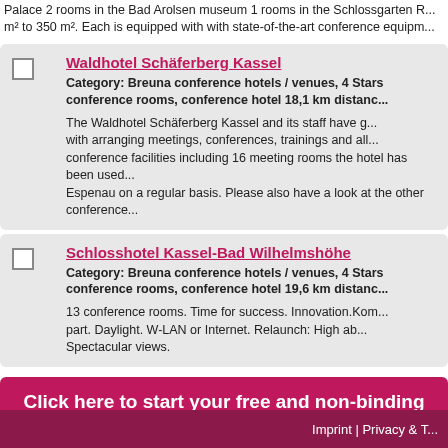Palace 2 rooms in the Bad Arolsen museum 1 rooms in the Schlossgarten Rooms from m² to 350 m². Each is equipped with with state-of-the-art conference equipm...
Waldhotel Schäferberg Kassel
Category: Breuna conference hotels / venues, 4 Stars conference rooms, conference hotel 18,1 km distanc...
The Waldhotel Schäferberg Kassel and its staff have g... with arranging meetings, conferences, trainings and all... conference facilities including 16 meeting rooms the hotel has been used... Espenau on a regular basis. Please also have a look at the other conference...
Schlosshotel Kassel-Bad Wilhelmshöhe
Category: Breuna conference hotels / venues, 4 Stars conference rooms, conference hotel 19,6 km distanc...
13 conference rooms. Time for success. Innovation.Kom... part. Daylight. W-LAN or Internet. Relaunch: High ab... Spectacular views.
Click here to start your free and non-binding request
Haven't found an adequate Breuna conference hotel in our list or want to pro... conference hotel? Please contact us!
Imprint | Privacy & T...